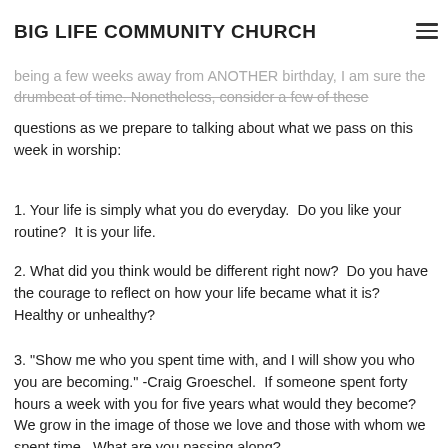BIG LIFE COMMUNITY CHURCH
being a few weeks away from ANOTHER birthday, I am sure the drumbeat of time. Nonetheless, consider a few of these questions as we prepare to talking about what we pass on this week in worship:
1. Your life is simply what you do everyday.  Do you like your routine?  It is your life.
2. What did you think would be different right now?  Do you have the courage to reflect on how your life became what it is?  Healthy or unhealthy?
3. "Show me who you spent time with, and I will show you who you are becoming." -Craig Groeschel.  If someone spent forty hours a week with you for five years what would they become?  We grow in the image of those we love and those with whom we spent time.  What are you passing along?